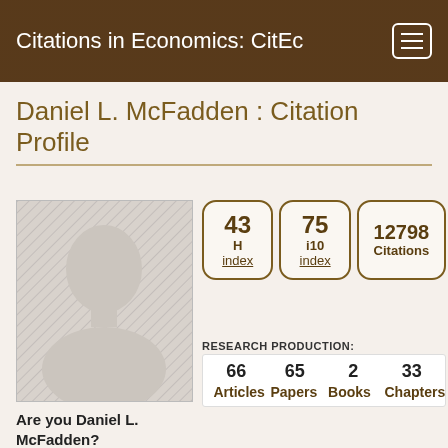Citations in Economics: CitEc
Daniel L. McFadden : Citation Profile
[Figure (illustration): Generic silhouette avatar placeholder image with grey hatched background]
43 H index
75 i10 index
12798 Citations
RESEARCH PRODUCTION:
66 Articles  65 Papers  2 Books  33 Chapters
Are you Daniel L. McFadden?
Complete your profile
Follow this researcher
EDITOR:
4